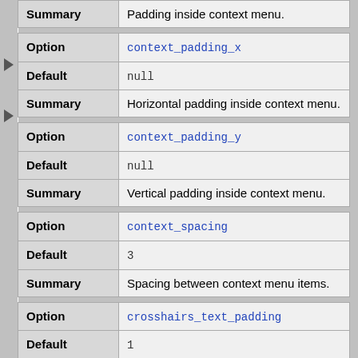| Option/Default/Summary | Value |
| --- | --- |
| Summary | Padding inside context menu. |
| Option | context_padding_x |
| Default | null |
| Summary | Horizontal padding inside context menu. |
| Option | context_padding_y |
| Default | null |
| Summary | Vertical padding inside context menu. |
| Option | context_spacing |
| Default | 3 |
| Summary | Spacing between context menu items. |
| Option | crosshairs_text_padding |
| Default | 1 |
| Summary | Padding inside coordinates box. |
| Option | crosshairs_text_space |
| Default | 3 |